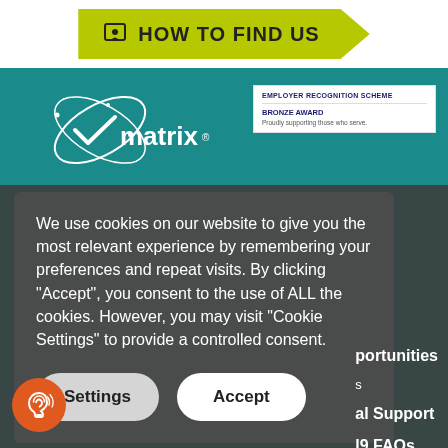HOW TO FIND US
[Figure (logo): Matrix logo in white on teal background]
[Figure (other): Employer Recognition Scheme Bronze Award badge]
We use cookies on our website to give you the most relevant experience by remembering your preferences and repeat visits. By clicking “Accept”, you consent to the use of ALL the cookies. However, you may visit "Cookie Settings" to provide a controlled consent.
Settings
Accept
portunities
al Support
l9 FAQs